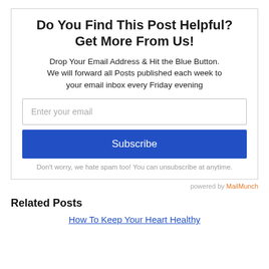Do You Find This Post Helpful? Get More From Us!
Drop Your Email Address & Hit the Blue Button. We will forward all Posts published each week to your email inbox every Friday evening
[Figure (other): Email subscription form with an email input field and a blue Subscribe button]
Don't worry, we hate spam too! You can unsubscribe at anytime.
powered by MailMunch
Related Posts
How To Keep Your Heart Healthy